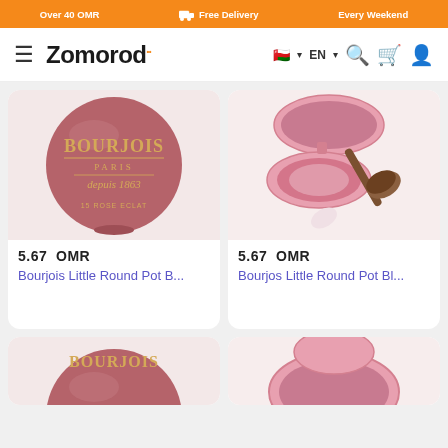Over 40 OMR | Free Delivery | Every Weekend
[Figure (screenshot): Zomorod e-commerce website navigation bar with hamburger menu, logo, Oman flag, EN language selector, search, cart, and account icons]
[Figure (photo): Bourjois Little Round Pot Blush product - closed compact showing BOURJOIS PARIS depuis 1863, 15 ROSE ECLAT]
5.67  OMR
Bourjois Little Round Pot B...
[Figure (photo): Bourjois Little Round Pot Blush product - open pink compact with brush]
5.67  OMR
Bourjos Little Round Pot Bl...
[Figure (photo): Bourjois blush compact - partially visible bottom left product card]
[Figure (photo): Bourjois blush compact open - partially visible bottom right product card]